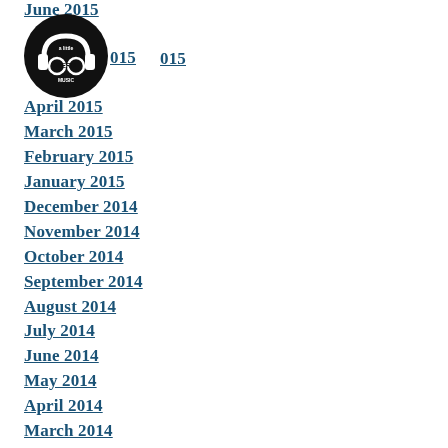June 2015
[Figure (logo): A Little Nerd Music logo with headphones and glasses]
May 2015
April 2015
March 2015
February 2015
January 2015
December 2014
November 2014
October 2014
September 2014
August 2014
July 2014
June 2014
May 2014
April 2014
March 2014
February 2014
RSS Feed